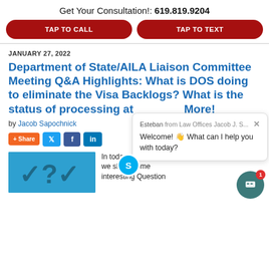Get Your Consultation!: 619.819.9204
TAP TO CALL
TAP TO TEXT
JANUARY 27, 2022
Department of State/AILA Liaison Committee Meeting Q&A Highlights: What is DOS doing to eliminate the Visa Backlogs? What is the status of processing at More!
by Jacob Sapochnick
+ Share
[Figure (screenshot): Chat popup from Esteban at Law Offices Jacob J. S... with message: Welcome! What can I help you with today?]
[Figure (photo): Blue background image with question mark and checkmark symbols]
In today's blog po... we share some interesting Question